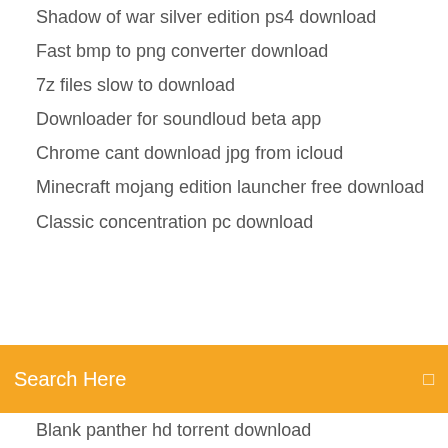Shadow of war silver edition ps4 download
Fast bmp to png converter download
7z files slow to download
Downloader for soundloud beta app
Chrome cant download jpg from icloud
Minecraft mojang edition launcher free download
Classic concentration pc download
[Figure (screenshot): Orange search bar with text 'Search Here' and a search icon on the right]
Blank panther hd torrent download
Download stream labels files
How to download raw video file from twitter
Mediabox hd apk download
Free safe glassware free download free version
Autotune free download get into pc
Download romfs files alpha saphire
Download android server apk
Lg g6 android oreo firmware download
How to download youtube movies to mp4